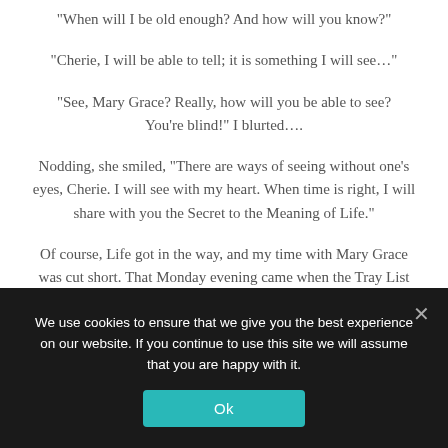“When will I be old enough? And how will you know?”
“Cherie, I will be able to tell; it is something I will see…”
“See, Mary Grace? Really, how will you be able to see? You’re blind!” I blurted….
Nodding, she smiled, “There are ways of seeing without one’s eyes, Cherie. I will see with my heart. When time is right, I will share with you the Secret to the Meaning of Life.”
Of course, Life got in the way, and my time with Mary Grace was cut short. That Monday evening came when the Tray List was missing her name. Jaw tight against the tears, I walked to room with the bay window. Her’s was
We use cookies to ensure that we give you the best experience on our website. If you continue to use this site we will assume that you are happy with it.